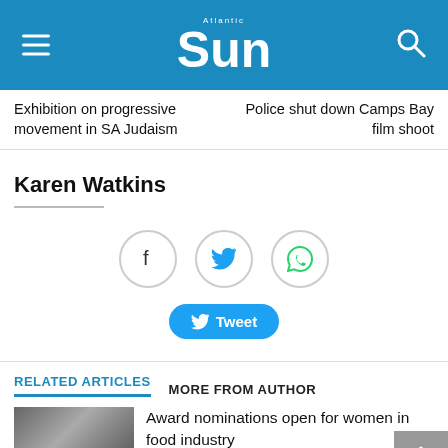Atlantic Sun
Exhibition on progressive movement in SA Judaism
Police shut down Camps Bay film shoot
Karen Watkins
[Figure (infographic): Social share icons: Facebook, Twitter, WhatsApp circles and a Tweet button]
RELATED ARTICLES   MORE FROM AUTHOR
Award nominations open for women in food industry